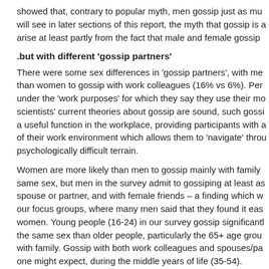showed that, contrary to popular myth, men gossip just as mu will see in later sections of this report, the myth that gossip is a arise at least partly from the fact that male and female gossip
.but with different 'gossip partners'
There were some sex differences in 'gossip partners', with me than women to gossip with work colleagues (16% vs 6%). Per under the 'work purposes' for which they say they use their mo scientists' current theories about gossip are sound, such gossi a useful function in the workplace, providing participants with a of their work environment which allows them to 'navigate' throu psychologically difficult terrain.
Women are more likely than men to gossip mainly with family same sex, but men in the survey admit to gossiping at least as spouse or partner, and with female friends – a finding which w our focus groups, where many men said that they found it eas women. Young people (16-24) in our survey gossip significantl the same sex than older people, particularly the 65+ age grou with family. Gossip with both work colleagues and spouses/pa one might expect, during the middle years of life (35-54).